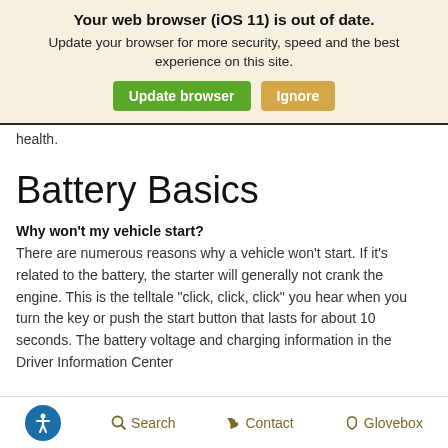Your web browser (iOS 11) is out of date. Update your browser for more security, speed and the best experience on this site.
Update browser | Ignore
health.
Battery Basics
Why won't my vehicle start?
There are numerous reasons why a vehicle won't start. If it's related to the battery, the starter will generally not crank the engine. This is the telltale "click, click, click" you hear when you turn the key or push the start button that lasts for about 10 seconds. The battery voltage and charging information in the Driver Information Center
Search   Contact   Glovebox